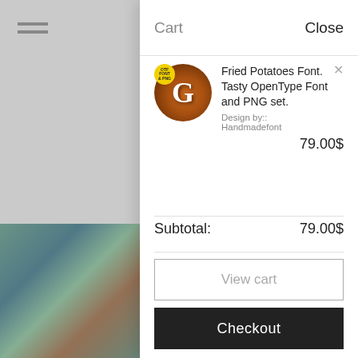[Figure (screenshot): Shopping cart overlay panel on an e-commerce website showing a cart with one item]
Cart    Close
Fried Potatoes Font. Tasty OpenType Font and PNG set.
Design by:: Handmadefont
79.00$
Subtotal:    79.00$
View cart
Checkout